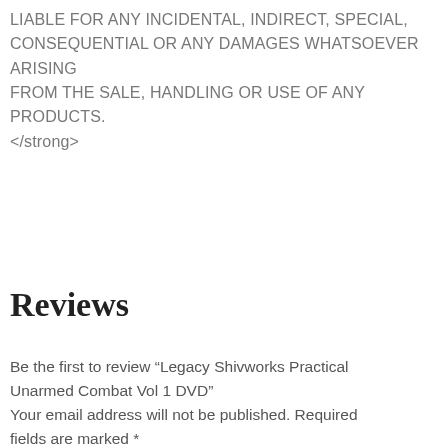LIABLE FOR ANY INCIDENTAL, INDIRECT, SPECIAL, CONSEQUENTIAL OR ANY DAMAGES WHATSOEVER   ARISING FROM THE SALE, HANDLING OR USE OF ANY PRODUCTS. </strong>
Reviews
Be the first to review “Legacy Shivworks Practical Unarmed Combat Vol 1 DVD”
Your email address will not be published. Required fields are marked *
[Figure (other): Five empty star rating icons in red outline]
Your review *